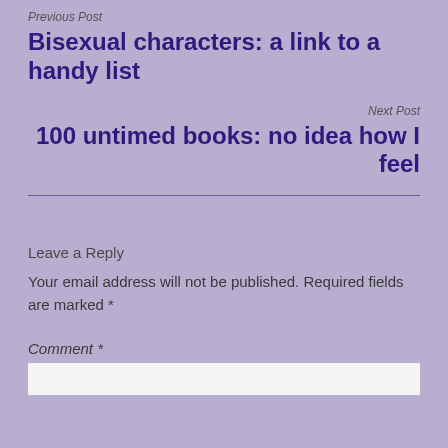Previous Post
Bisexual characters: a link to a handy list
Next Post
100 untimed books: no idea how I feel
Leave a Reply
Your email address will not be published. Required fields are marked *
Comment *